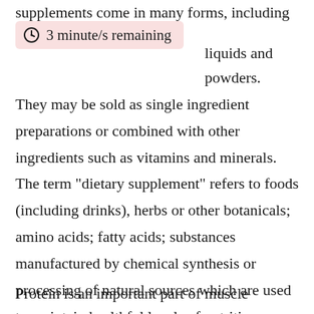supplements come in many forms, including tablets, liquids and powders.
3 minute/s remaining
They may be sold as single ingredient preparations or combined with other ingredients such as vitamins and minerals. The term “dietary supplement” refers to foods (including drinks), herbs or other botanicals; amino acids; fatty acids; substances manufactured by chemical synthesis or processing of natural sources which are used to maintain healthful levels of nutrition intake; and any product marketed for its potential nutritional value on the label without regard to its safety.”
Protein is an important part of muscle building because it helps repair damaged muscles after